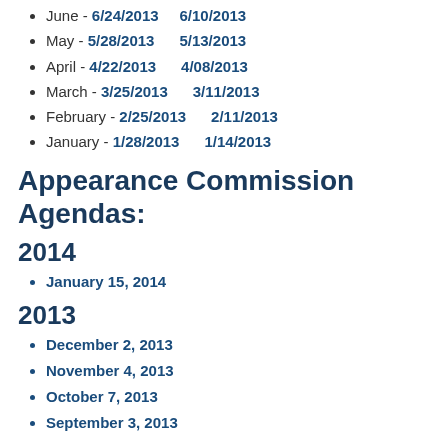June - 6/24/2013  6/10/2013
May - 5/28/2013  5/13/2013
April - 4/22/2013  4/08/2013
March - 3/25/2013  3/11/2013
February - 2/25/2013  2/11/2013
January - 1/28/2013  1/14/2013
Appearance Commission Agendas:
2014
January 15, 2014
2013
December 2, 2013
November 4, 2013
October 7, 2013
September 3, 2013